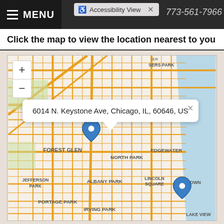MENU | Accessibility View | 773-561-7966
Click the map to view the location nearest to you
[Figure (map): Street map of Chicago neighborhoods including Forest Glen, North Park, Jefferson Park, Albany Park, Lincoln Square, Uptown, Edgewater, Portage Park, Irving Park, Lake View. Two blue map pin markers are visible. A popup tooltip shows address: 6014 N. Keystone Ave, Chicago, IL, 60646, US]